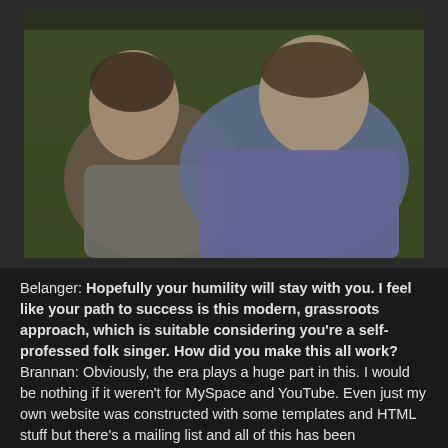[Figure (photo): Two men sitting close together. One on the left is shirtless wearing a gray tank top with a necklace, the other on the right is wearing a purple polo shirt. Background appears greenish.]
Belanger: Hopefully your humility will stay with you. I feel like your path to success is this modern, grassroots approach, which is suitable considering you're a self-professed folk singer. How did you make this all work? Brannan: Obviously, the era plays a huge part in this. I would be nothing if it weren't for MySpace and YouTube. Even just my own website was constructed with some templates and HTML stuff but there's a mailing list and all of this has been completely invaluable for me. Of course, being in SHORTBUS, was a big part. It was distributed around the world and being in that film as well as having a song in the film and on the soundtrack was the equivalent of going on a world tour without actually having to leave New York. Once the film was released, it just drove all this traffic to these sites where I just tried to maintain activity, keep putting...